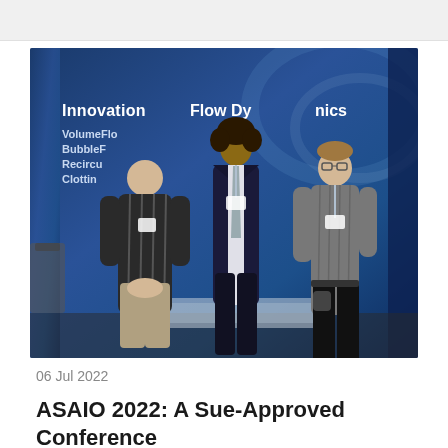[Figure (photo): Three men standing in front of a blue banner reading 'Innovations in Flow Dynamics' with bullet points listing VolumeFlow, BubbleFlow, Recirculation, Clotting at an ASAIO 2022 conference booth. A display case is on the table in front of them.]
06 Jul 2022
ASAIO 2022: A Sue-Approved Conference